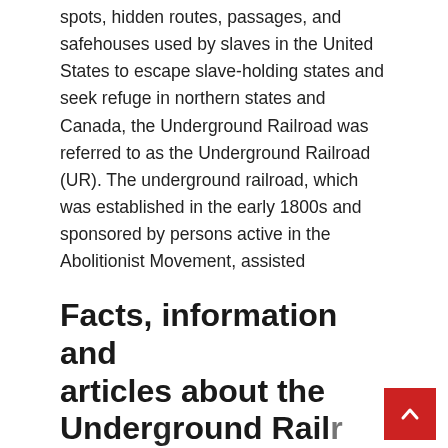spots, hidden routes, passages, and safehouses used by slaves in the United States to escape slave-holding states and seek refuge in northern states and Canada, the Underground Railroad was referred to as the Underground Railroad (UR). The underground railroad, which was established in the early 1800s and sponsored by persons active in the Abolitionist Movement, assisted thousands of slaves in their attempts to escape bondage. Between 1810 and 1850, it is estimated that 100,000 slaves escaped from bondage in the southern United States.
Facts, information and articles about the Underground Railroad